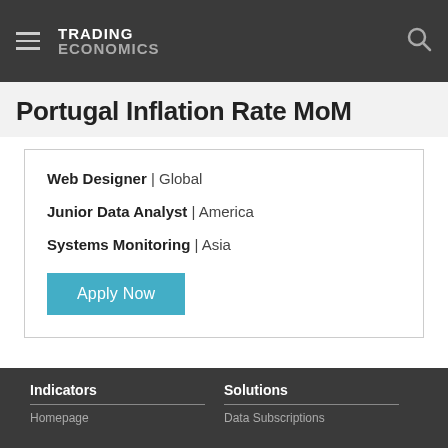TRADING ECONOMICS
Portugal Inflation Rate MoM
Web Designer | Global
Junior Data Analyst | America
Systems Monitoring | Asia
Apply Now
Indicators | Solutions | Homepage | Data Subscriptions